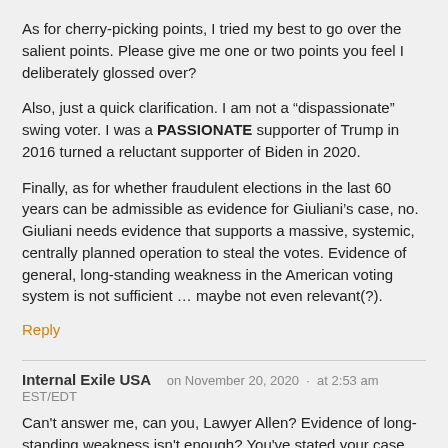As for cherry-picking points, I tried my best to go over the salient points. Please give me one or two points you feel I deliberately glossed over?
Also, just a quick clarification. I am not a “dispassionate” swing voter. I was a PASSIONATE supporter of Trump in 2016 turned a reluctant supporter of Biden in 2020.
Finally, as for whether fraudulent elections in the last 60 years can be admissible as evidence for Giuliani’s case, no. Giuliani needs evidence that supports a massive, systemic, centrally planned operation to steal the votes. Evidence of general, long-standing weakness in the American voting system is not sufficient … maybe not even relevant(?).
Reply
Internal Exile USA    on November 20, 2020 ·  at 2:53 am EST/EDT
Can't answer me, can you, Lawyer Allen? Evidence of long-standing weakness isn't enough? You've stated your case, now, what on earth were you doing here in the first place? Not